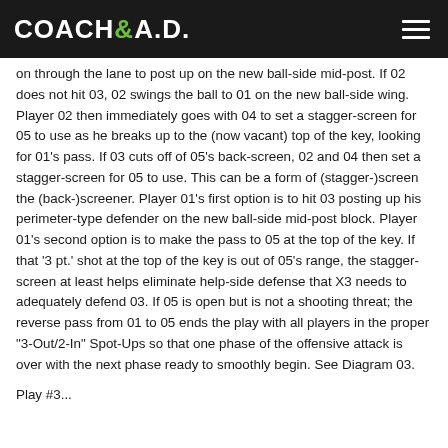COACH&A.D.
on through the lane to post up on the new ball-side mid-post. If 02 does not hit 03, 02 swings the ball to 01 on the new ball-side wing. Player 02 then immediately goes with 04 to set a stagger-screen for 05 to use as he breaks up to the (now vacant) top of the key, looking for 01’s pass. If 03 cuts off of 05’s back-screen, 02 and 04 then set a stagger-screen for 05 to use. This can be a form of (stagger-)screen the (back-)screener. Player 01’s first option is to hit 03 posting up his perimeter-type defender on the new ball-side mid-post block. Player 01’s second option is to make the pass to 05 at the top of the key. If that ‘3 pt.’ shot at the top of the key is out of 05’s range, the stagger-screen at least helps eliminate help-side defense that X3 needs to adequately defend 03. If 05 is open but is not a shooting threat; the reverse pass from 01 to 05 ends the play with all players in the proper “3-Out/2-In” Spot-Ups so that one phase of the offensive attack is over with the next phase ready to smoothly begin. See Diagram 03.
Play #3...